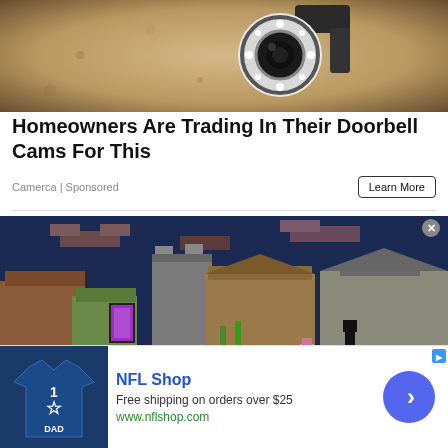[Figure (photo): Security camera mounted on a sandy/stone surface, close-up shot showing a circular white camera body with black lens ring and LED lights, and a black mounting bracket]
Homeowners Are Trading In Their Doorbell Cams For This
Camerca | Sponsored
[Figure (screenshot): Minecraft village scene at night with various block buildings including wooden and stone structures, a nether portal glowing purple, trees, grass, and characters/mobs visible]
[Figure (photo): NFL Shop advertisement banner showing a navy blue Dallas Cowboys t-shirt with number 1 and DAD text, NFL Shop title, free shipping offer, website URL, and a blue arrow circle button]